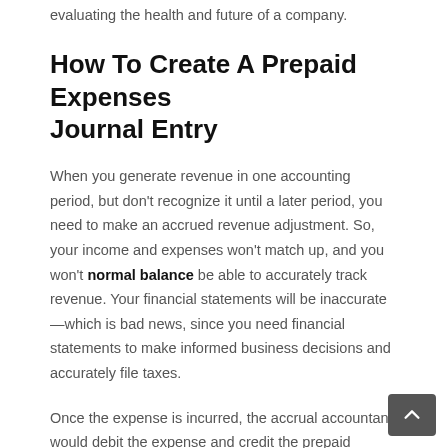evaluating the health and future of a company.
How To Create A Prepaid Expenses Journal Entry
When you generate revenue in one accounting period, but don't recognize it until a later period, you need to make an accrued revenue adjustment. So, your income and expenses won't match up, and you won't normal balance be able to accurately track revenue. Your financial statements will be inaccurate—which is bad news, since you need financial statements to make informed business decisions and accurately file taxes.
Once the expense is incurred, the accrual accountant would debit the expense and credit the prepaid expense account. A prepaid expense is considered an asset because the amount paid would be refunded if the expense is never incurred — if…